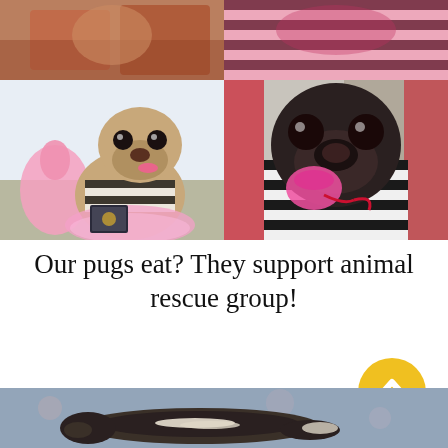[Figure (photo): Top-left: partial photo of a dog in a red/brown setting]
[Figure (photo): Top-right: partial photo of a dog with pink/red scarf and black-white striped shirt]
[Figure (photo): Middle-left: pug in pink tutu and black-white striped shirt sitting with pink stuffed flamingo and a certificate]
[Figure (photo): Middle-right: black pug wearing pink bag/pouch and black-white striped shirt with red ribbon]
Our pugs eat? They support animal rescue group!
[Figure (photo): Bottom: sleeping animal (possibly a cat or ferret) on a floral fabric background]
[Figure (other): Yellow circular scroll-up button with white chevron arrow]